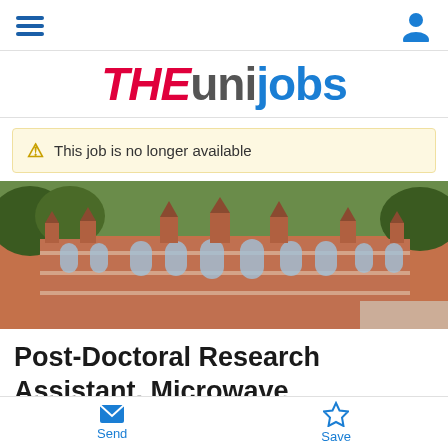THEunijobs navigation header
THEunijobs
This job is no longer available
[Figure (photo): Aerial view of a historic red-brick university campus building surrounded by trees]
Post-Doctoral Research Assistant, Microwave
Send | Save